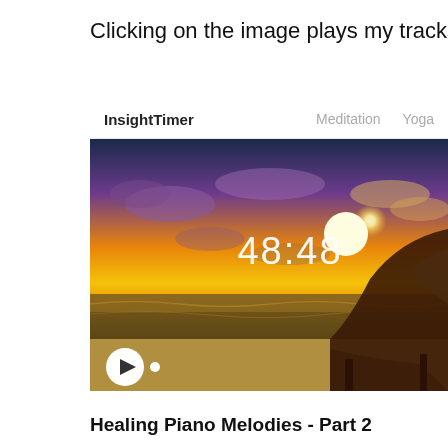Clicking on the image plays my tracks on Ins
[Figure (screenshot): InsightTimer website screenshot showing a media player with a sunset beach scene and a grand piano, displaying time 48:48, with navigation bar showing 'InsightTimer', 'Meditation', 'Yoga' links, and a play button at the bottom left]
Healing Piano Melodies - Part 2